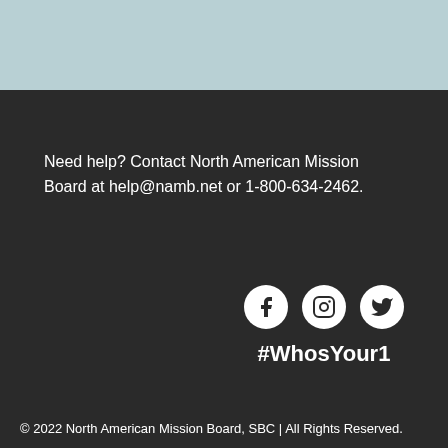[Figure (illustration): Light blue/teal colored band at top of page]
Need help? Contact North American Mission Board at help@namb.net or 1-800-634-2462.
[Figure (illustration): Social media icons: Facebook, Instagram, Twitter in white circles on dark background]
#WhosYour1
© 2022 North American Mission Board, SBC | All Rights Reserved.